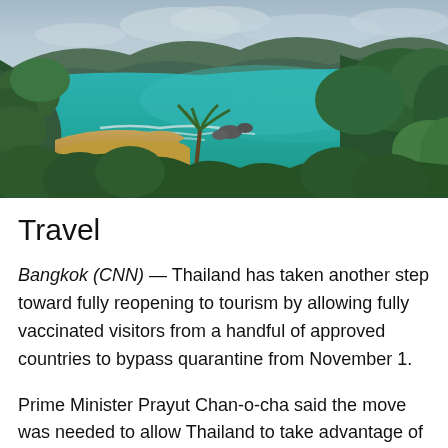[Figure (photo): Aerial view of a tropical coastline with turquoise ocean water, sandy beach, lush green jungle vegetation, rocky outcrops, and mountains in the background under a cloudy sky — likely Phuket, Thailand.]
Travel
Bangkok (CNN) — Thailand has taken another step toward fully reopening to tourism by allowing fully vaccinated visitors from a handful of approved countries to bypass quarantine from November 1.
Prime Minister Prayut Chan-o-cha said the move was needed to allow Thailand to take advantage of travelers hoping to escape during upcoming wither holidays.